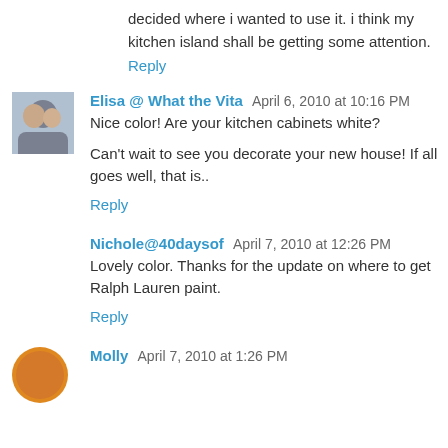decided where i wanted to use it. i think my kitchen island shall be getting some attention.
Reply
Elisa @ What the Vita  April 6, 2010 at 10:16 PM
Nice color! Are your kitchen cabinets white?
Can't wait to see you decorate your new house! If all goes well, that is..
Reply
Nichole@40daysof  April 7, 2010 at 12:26 PM
Lovely color. Thanks for the update on where to get Ralph Lauren paint.
Reply
Molly  April 7, 2010 at 1:26 PM